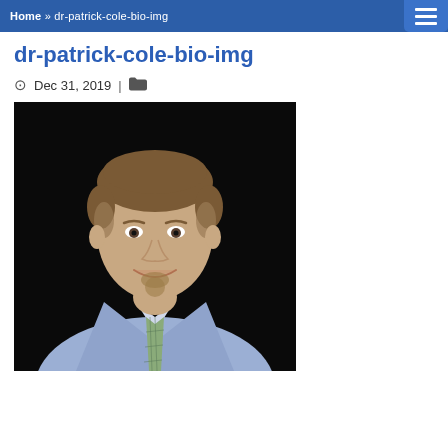Home » dr-patrick-cole-bio-img
dr-patrick-cole-bio-img
Dec 31, 2019 |
[Figure (photo): Professional headshot of Dr. Patrick Cole, a man with short brown hair and a goatee, wearing a light blue/lavender dress shirt and a plaid tie, smiling against a dark background.]